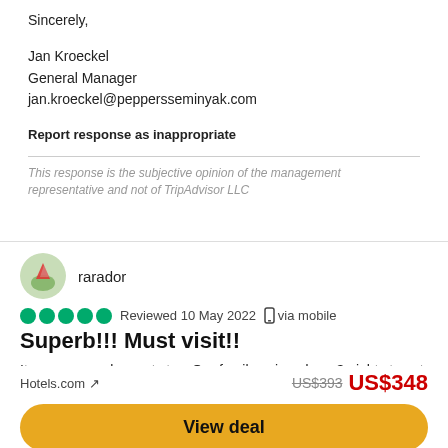Sincerely,
Jan Kroeckel
General Manager
jan.kroeckel@peppersseminyak.com
Report response as inappropriate
This response is the subjective opinion of the management representative and not of TripAdvisor LLC
rarador
Reviewed 10 May 2022   via mobile
Superb!!! Must visit!!
It was a very pleasant stay. Our family enjoyed our 3 night stay at Peppers seminyak. All the staffs are friendly and helpful. The villa
Hotels.com ↗   US$393  US$348
View deal